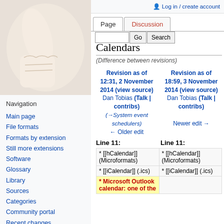Log in / create account
[Figure (photo): Thumbs up hand gesture photo on left sidebar]
Navigation
Main page
File formats
Formats by extension
Still more extensions
Software
Glossary
Library
Sources
Categories
Community portal
Recent changes
Random page
Calendars
(Difference between revisions)
| Revision as of 12:31, 2 November 2014 (view source) | Revision as of 18:59, 3 November 2014 (view source) |
| --- | --- |
| Dan Tobias (Talk | contribs) | Dan Tobias (Talk | contribs) |
| (→System event schedulers) | Newer edit → |
| ← Older edit |  |
| Line 11: | Line 11: |
| * [[hCalendar]] (Microformats) | * [[hCalendar]] (Microformats) |
| * [[iCalendar]] (.ics) | * [[iCalendar]] (.ics) |
| * Microsoft Outlook calendar: one of the |  |